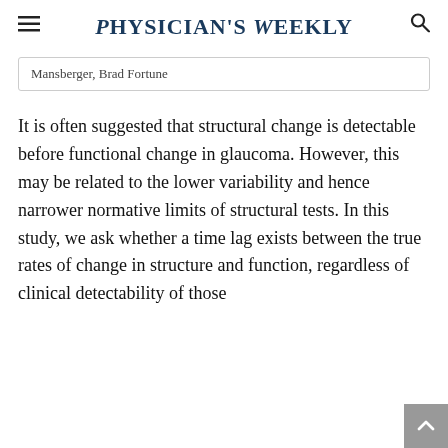Physician's Weekly
Mansberger, Brad Fortune
It is often suggested that structural change is detectable before functional change in glaucoma. However, this may be related to the lower variability and hence narrower normative limits of structural tests. In this study, we ask whether a time lag exists between the true rates of change in structure and function, regardless of clinical detectability of those